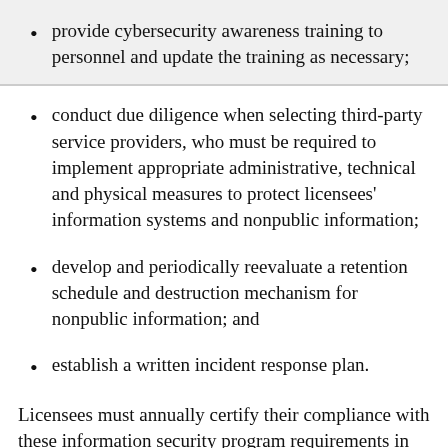provide cybersecurity awareness training to personnel and update the training as necessary;
conduct due diligence when selecting third-party service providers, who must be required to implement appropriate administrative, technical and physical measures to protect licensees' information systems and nonpublic information;
develop and periodically reevaluate a retention schedule and destruction mechanism for nonpublic information; and
establish a written incident response plan.
Licensees must annually certify their compliance with these information security program requirements in writing to the Vermont Deputy Commissioner of